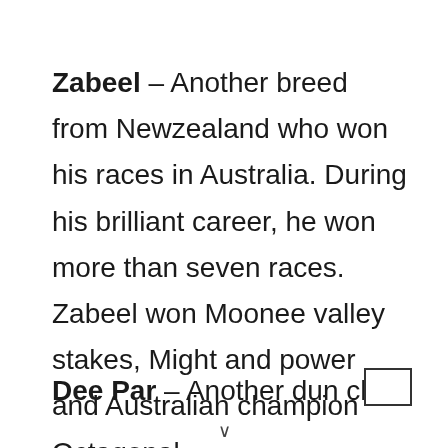Zabeel – Another breed from Newzealand who won his races in Australia. During his brilliant career, he won more than seven races. Zabeel won Moonee valley stakes, Might and power and Australian champion Octagonal.
Dee Par – Another dun chestn...